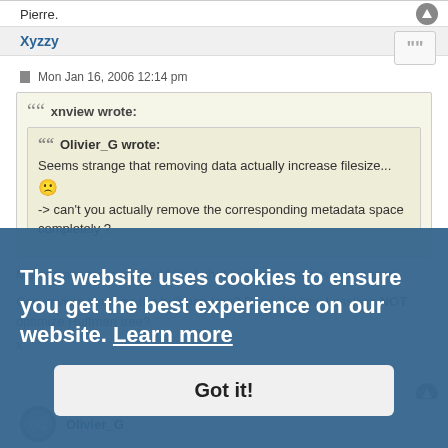Pierre.
Xyzzy
Mon Jan 16, 2006 12:14 pm
xnview wrote:
Olivier_G wrote:
Seems strange that removing data actually increase filesize... -> can't you actually remove the corresponding metadata space completely ?
Metadata is removed, but I think that huffmann code is rearranged.
Can xnview optimize the huffman tree? Does XnView Lossless NOT optimize Huffman tree?
x.
Olivier_G
This website uses cookies to ensure you get the best experience on our website. Learn more
Got it!